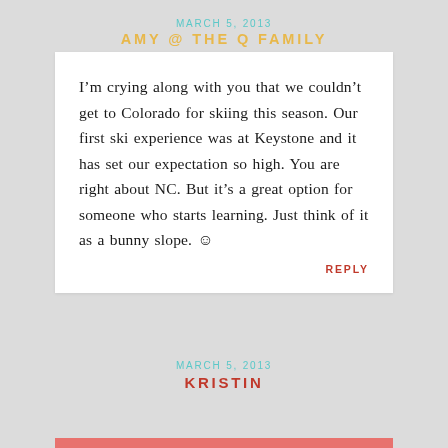MARCH 5, 2013
AMY @ THE Q FAMILY
I’m crying along with you that we couldn’t get to Colorado for skiing this season. Our first ski experience was at Keystone and it has set our expectation so high. You are right about NC. But it’s a great option for someone who starts learning. Just think of it as a bunny slope. ☺
REPLY
MARCH 5, 2013
KRISTIN